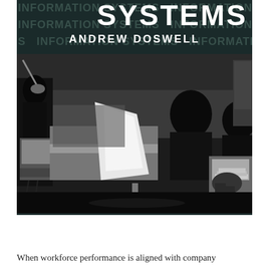[Figure (photo): Book cover with dark background featuring repeated 'INFORMATION SYSTEMS' text pattern, large 'SYSTEMS' title at top, author name 'ANDREW DOSWELL' in white bold text, and a black-and-white photograph of an office environment with workers at desks with computer equipment]
When workforce performance is aligned with company